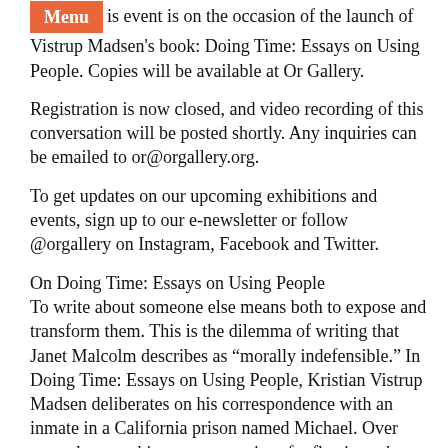...pulse and passion. This event is on the occasion of the launch of Vistrup Madsen's book: Doing Time: Essays on Using People. Copies will be available at Or Gallery.
Registration is now closed, and video recording of this conversation will be posted shortly. Any inquiries can be emailed to or@orgallery.org.
To get updates on our upcoming exhibitions and events, sign up to our e-newsletter or follow @orgallery on Instagram, Facebook and Twitter.
On Doing Time: Essays on Using People
To write about someone else means both to expose and transform them. This is the dilemma of writing that Janet Malcolm describes as “morally indefensible.” In Doing Time: Essays on Using People, Kristian Vistrup Madsen deliberates on his correspondence with an inmate in a California prison named Michael. Over several years, this spawns a series of reflections about the politics of solidarity and appropriation, but also about writing itself and what